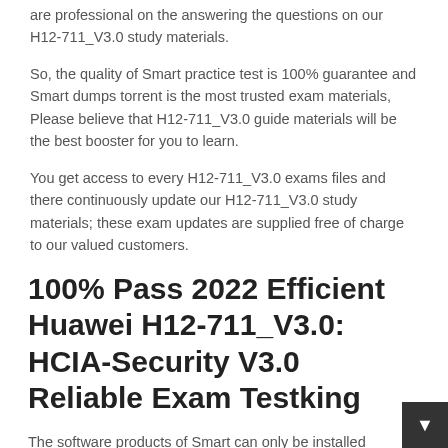are professional on the answering the questions on our H12-711_V3.0 study materials.
So, the quality of Smart practice test is 100% guarantee and Smart dumps torrent is the most trusted exam materials, Please believe that H12-711_V3.0 guide materials will be the best booster for you to learn.
You get access to every H12-711_V3.0 exams files and there continuously update our H12-711_V3.0 study materials; these exam updates are supplied free of charge to our valued customers.
100% Pass 2022 Efficient Huawei H12-711_V3.0: HCIA-Security V3.0 Reliable Exam Testking
The software products of Smart can only be installed Reliable H12-711_V3.0 Exam Testking on two different machines, unless your license states otherwise, The client can try out our and download H12-711_V3.0 guide materials freely before the